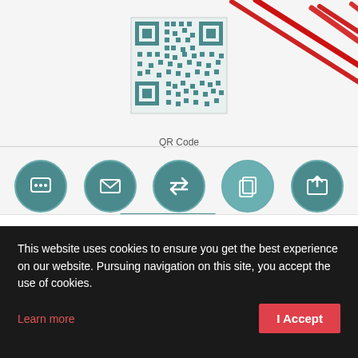[Figure (screenshot): Mobile app screenshot showing a QR code at the top with label 'QR Code', a row of sharing icons (Sms, Email, Airswop, Copy U[RL], Sharing) with teal circular icons, a red arrow annotation pointing to the bottom navigation bar, and a bottom nav with 'My card', 'My links', and 'Contacts' tabs, along with a dark bottom handle bar.]
This website uses cookies to ensure you get the best experience on our website. Pursuing navigation on this site, you accept the use of cookies.
Learn more
I Accept